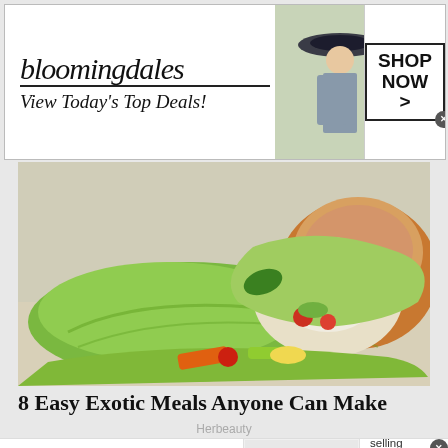[Figure (screenshot): Bloomingdales advertisement banner: logo text 'bloomingdales', tagline 'View Today's Top Deals!', model in hat, 'SHOP NOW >' button]
[Figure (photo): Food photo showing green lettuce wraps filled with colorful vegetables including red cabbage, carrots, and other fresh vegetables, served in a wooden bowl with a sauce bowl in background]
8 Easy Exotic Meals Anyone Can Make
Herbeauty
[Figure (screenshot): Wayfair advertisement: Wayfair logo, 'Top Appliances Low Prices', image of stove appliance, 'Save on best selling brands that live up to the hype', purple 'Shop now' button]